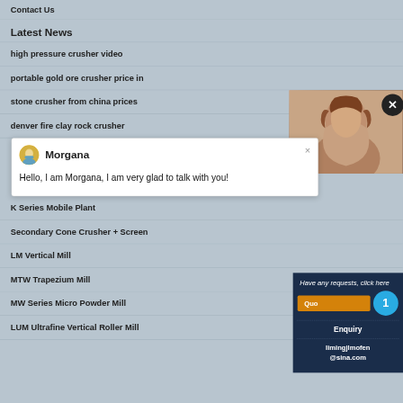Contact Us
Latest News
high pressure crusher video
portable gold ore crusher price in
stone crusher from china prices
denver fire clay rock crusher
[Figure (photo): Photo of a person (woman) partially visible in top-right corner with a close button overlay]
Morgana
Hello, I am Morgana, I am very glad to talk with you!
K Series Mobile Plant
Secondary Cone Crusher + Screen
LM Vertical Mill
MTW Trapezium Mill
MW Series Micro Powder Mill
LUM Ultrafine Vertical Roller Mill
Have any requests, click here
Quo...
1
Enquiry
limingjlmofen@sina.com